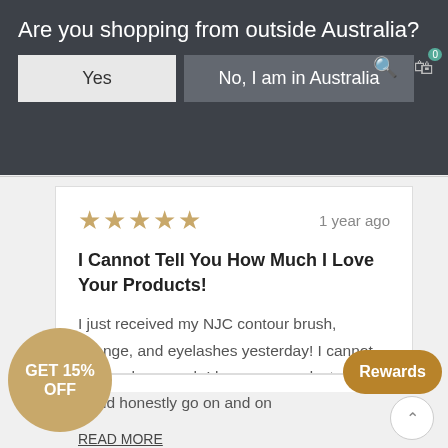Are you shopping from outside Australia?
Yes | No, I am in Australia
[Figure (screenshot): Five gold star rating on the left, '1 year ago' on the right]
I Cannot Tell You How Much I Love Your Products!
I just received my NJC contour brush, sponge, and eyelashes yesterday! I cannot tell you how much I love your products! I could honestly go on and on
READ MORE
Was this helpful? 👍 0
GET 15% OFF
Rewards